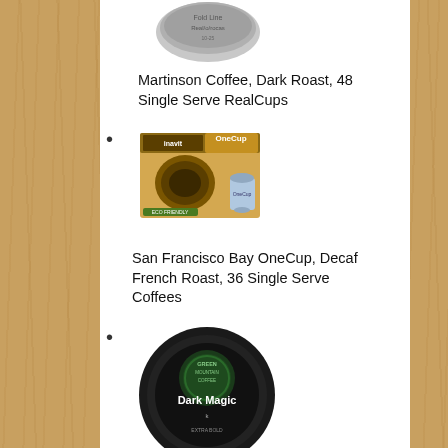Martinson Coffee, Dark Roast, 48 Single Serve RealCups
San Francisco Bay OneCup, Decaf French Roast, 36 Single Serve Coffees
Green Mountain Coffee, Dark Magic (Extra Bold), 96-Count K-Cups for Keurig Brewers
Folgers Classic Roast (partially visible)